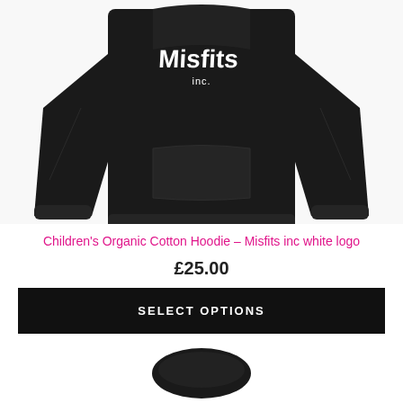[Figure (photo): Black children's hoodie with white Misfits inc. logo on the chest, photographed from the front showing the kangaroo pocket and long sleeves]
Children's Organic Cotton Hoodie – Misfits inc white logo
£25.00
SELECT OPTIONS
[Figure (photo): Partial view of another dark product item at the bottom of the page]